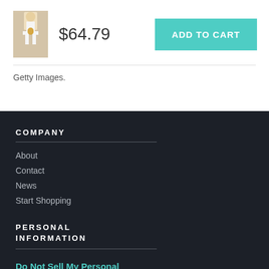[Figure (photo): Small product photo of a basketball player holding a trophy]
$64.79
ADD TO CART
Getty Images.
COMPANY
About
Contact
News
Start Shopping
PERSONAL INFORMATION
Do Not Sell My Personal Information
SHOP